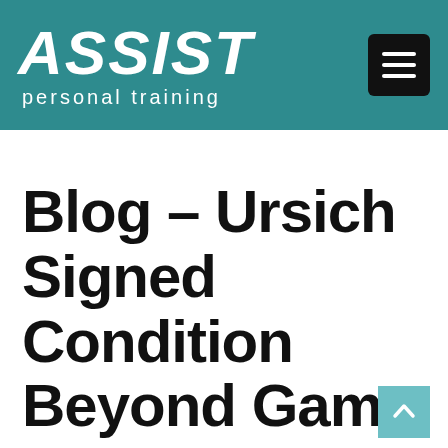ASSIST personal training
Blog – Ursich Signed Condition Beyond Game Ready